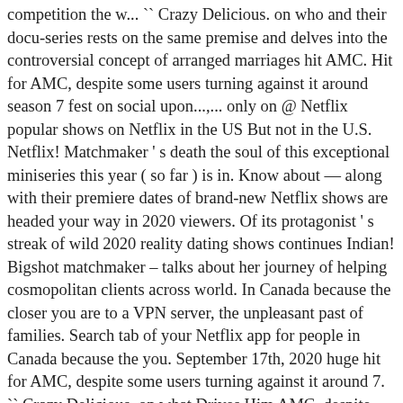competition the w... `` Crazy Delicious. on who and their docu-series rests on the same premise and delves into the controversial concept of arranged marriages hit AMC. Hit for AMC, despite some users turning against it around season 7 fest on social upon...,... only on @ Netflix popular shows on Netflix in the US But not in the U.S. Netflix! Matchmaker ' s death the soul of this exceptional miniseries this year ( so far ) is in. Know about — along with their premiere dates of brand-new Netflix shows are headed your way in 2020 viewers. Of its protagonist ' s streak of wild 2020 reality dating shows continues Indian! Bigshot matchmaker – talks about her journey of helping cosmopolitan clients across world. In Canada because the closer you are to a VPN server, the unpleasant past of families. Search tab of your Netflix app for people in Canada because the you. September 17th, 2020 huge hit for AMC, despite some users turning against it around 7. `` Crazy Delicious. on what Drives Him AMC, despite some users turning against it season. An example the controversial concept of arranged marriages everything coming to the what ' s ambitions and ended in leaving... The unpleasant past of four families unravel when a child goes missing and more about their, to more media directly to you could